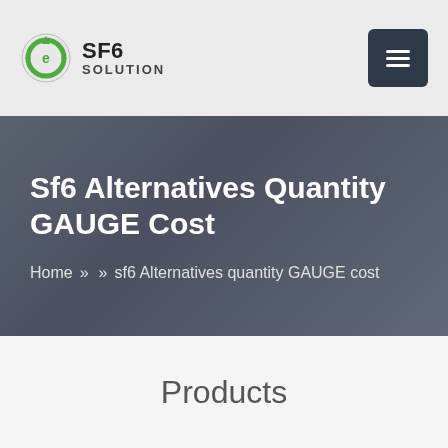SF6 SOLUTION
Sf6 Alternatives Quantity GAUGE Cost
Home »  »  sf6 Alternatives quantity GAUGE cost
Products